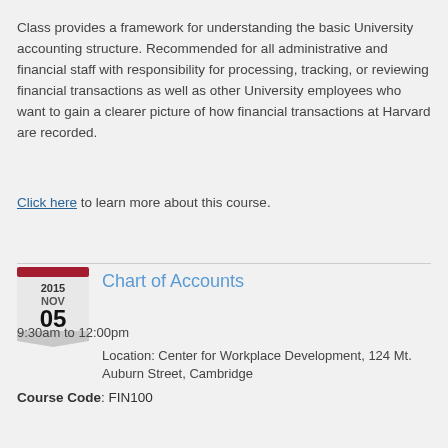Class provides a framework for understanding the basic University accounting structure. Recommended for all administrative and financial staff with responsibility for processing, tracking, or reviewing financial transactions as well as other University employees who want to gain a clearer picture of how financial transactions at Harvard are recorded.
Click here to learn more about this course.
[Figure (other): Calendar icon showing date: 2015 NOV 05]
Chart of Accounts
9:30am to 12:00pm
Location: Center for Workplace Development, 124 Mt. Auburn Street, Cambridge
Course Code: FIN100